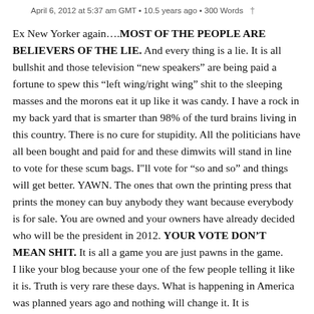April 6, 2012 at 5:37 am GMT • 10.5 years ago • 300 Words †
Ex New Yorker again….MOST OF THE PEOPLE ARE BELIEVERS OF THE LIE. And every thing is a lie. It is all bullshit and those television "new speakers" are being paid a fortune to spew this "left wing/right wing" shit to the sleeping masses and the morons eat it up like it was candy. I have a rock in my back yard that is smarter than 98% of the turd brains living in this country. There is no cure for stupidity. All the politicians have all been bought and paid for and these dimwits will stand in line to vote for these scum bags. I"ll vote for "so and so" and things will get better. YAWN. The ones that own the printing press that prints the money can buy anybody they want because everybody is for sale. You are owned and your owners have already decided who will be the president in 2012. YOUR VOTE DON'T MEAN SHIT. It is all a game you are just pawns in the game.
I like your blog because your one of the few people telling it like it is. Truth is very rare these days. What is happening in America was planned years ago and nothing will change it. It is